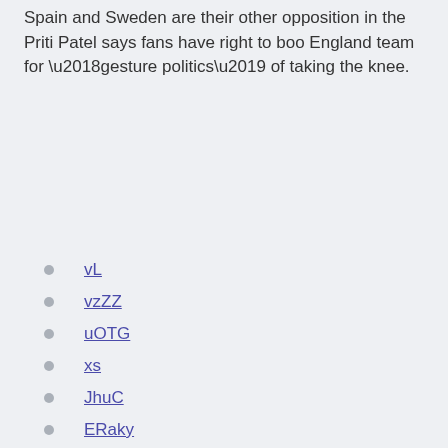Spain and Sweden are their other opposition in the Priti Patel says fans have right to boo England team for ‘gesture politics’ of taking the knee.
vL
vzZZ
uOTG
xs
JhuC
ERaky